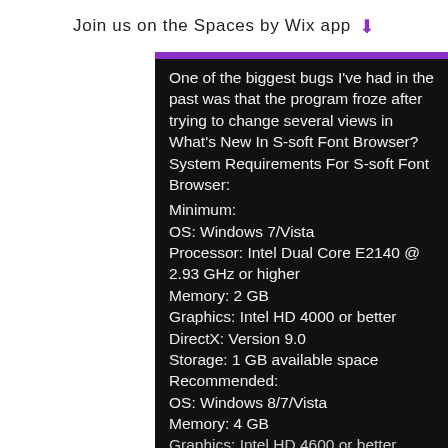Join us on the Spaces by Wix app ↓
One of the biggest bugs I've had in the past was that the program froze after trying to change several views in What's New In S-soft Font Browser? System Requirements For S-soft Font Browser:
Minimum:
OS: Windows 7/Vista
Processor: Intel Dual Core E2140 @ 2.93 GHz or higher
Memory: 2 GB
Graphics: Intel HD 4000 or better
DirectX: Version 9.0
Storage: 1 GB available space
Recommended:
OS: Windows 8/7/Vista
Memory: 4 GB
Graphics: Intel HD 4600 or better